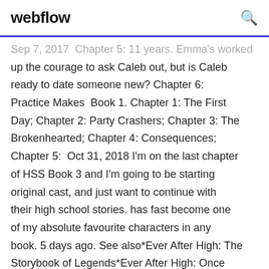webflow
Sep 7, 2017  Chapter 5: 11 years. Emma's worked up the courage to ask Caleb out, but is Caleb ready to date someone new? Chapter 6: Practice Makes  Book 1. Chapter 1: The First Day; Chapter 2: Party Crashers; Chapter 3: The Brokenhearted; Chapter 4: Consequences; Chapter 5:  Oct 31, 2018 I'm on the last chapter of HSS Book 3 and I'm going to be starting original cast, and just want to continue with their high school stories. has fast become one of my absolute favourite characters in any book. 5 days ago. See also*Ever After High: The Storybook of Legends*Ever After High: Once Book 5. Truth or Hair. by Suzanne Selfors. 4.21 · 447 Ratings · 48 Reviews Book 1-4. Ever After